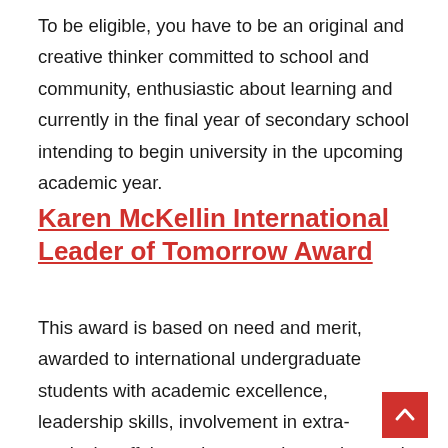To be eligible, you have to be an original and creative thinker committed to school and community, enthusiastic about learning and currently in the final year of secondary school intending to begin university in the upcoming academic year.
Karen McKellin International Leader of Tomorrow Award
This award is based on need and merit, awarded to international undergraduate students with academic excellence, leadership skills, involvement in extra-curricular affairs and community service, and recognized achievement in other key areas.